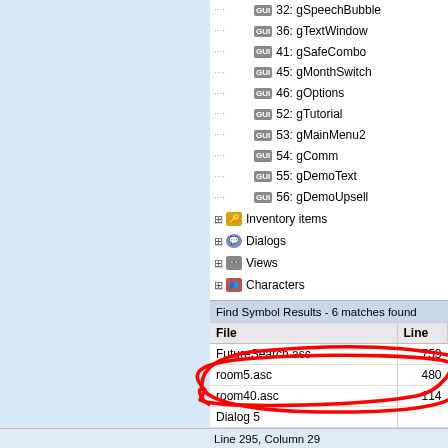[Figure (screenshot): IDE screenshot showing a tree panel with GUI elements (gSpeechBubble, gTextWindow, gSafeCombo, gMonthSwitch, gOptions, gTutorial, gMainMenu2, gComm, gDemoText, gDemoUpsell), and category nodes (Inventory items, Dialogs, Views, Characters). Below is a Find Symbol Results panel showing 6 matches found in files: FutureSearch.asc line 753, room5.asc line 480, room40.asc line 114, Dialog 5, Dialog 37 line 295 (selected/highlighted in blue), Dialog 88 line 40. A red hand-drawn circle annotation highlights the Dialog 37 row. Status bar shows Line 295, Column 29.]